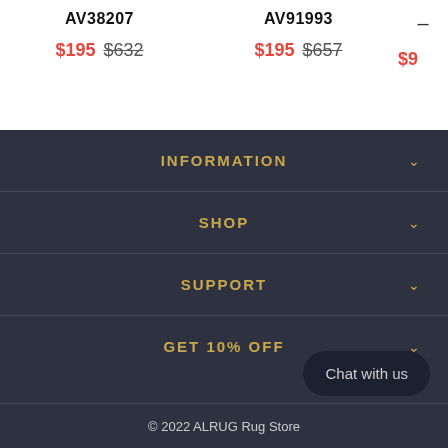AV38207
$195 $632
AV91993
$195 $657
-
$9
INFORMATION
SHOP
SUPPORT
GET 10% OFF
Chat with us
© 2022 ALRUG Rug Store